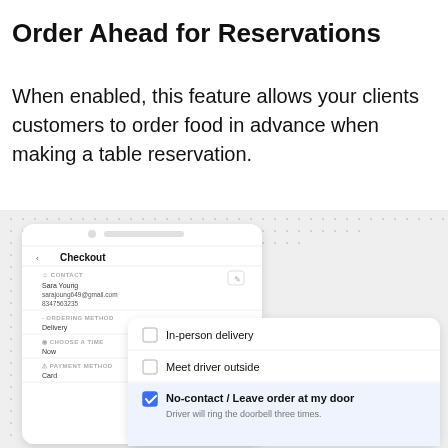Order Ahead for Reservations
When enabled, this feature allows your clients customers to order food in advance when making a table reservation.
[Figure (screenshot): Screenshot of a mobile app checkout screen showing contact info, ordering method, and a delivery options dropdown with 'In-person delivery', 'Meet driver outside', and 'No-contact / Leave order at my door' (selected, with blue checkbox). Subtitle: 'Driver will ring the doorbell three times.']